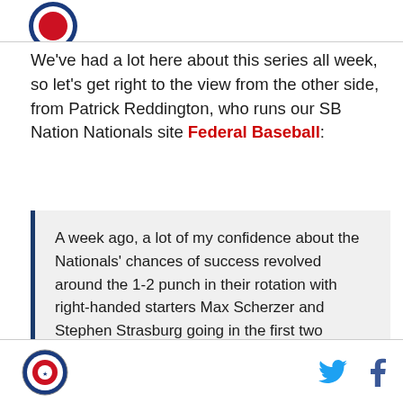[Figure (logo): Partial circular logo/icon at top left, partially cropped]
We've had a lot here about this series all week, so let's get right to the view from the other side, from Patrick Reddington, who runs our SB Nation Nationals site Federal Baseball:
A week ago, a lot of my confidence about the Nationals' chances of success revolved around the 1-2 punch in their rotation with right-handed starters Max Scherzer and Stephen Strasburg going in the first two games. Right now the Nationals are talking about when Scherzer is going to start after he tweaked his hamstring last Saturday.
[Figure (logo): Circular logo/badge at bottom left in footer]
[Figure (other): Twitter bird icon in cyan/blue at bottom right]
[Figure (other): Facebook 'f' icon in dark blue at bottom right]